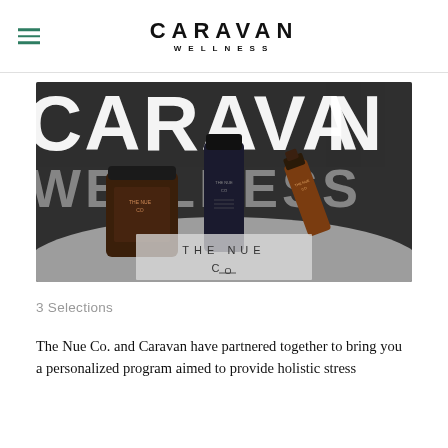CARAVAN WELLNESS
[Figure (photo): Product photo showing The Nue Co. wellness products — amber glass jars and a dropper bottle — arranged on a dark canvas tote bag printed with 'CARAVAN WELLNESS' in large white letters. The Nue Co logo appears in the lower center of the image.]
3 Selections
The Nue Co. and Caravan have partnered together to bring you a personalized program aimed to provide holistic stress